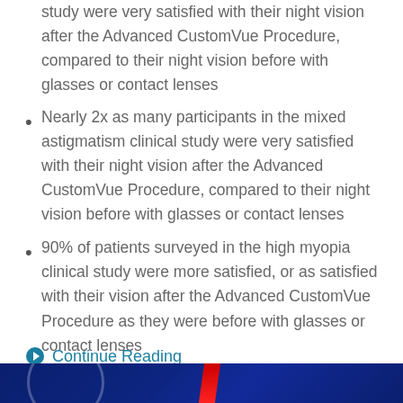study were very satisfied with their night vision after the Advanced CustomVue Procedure, compared to their night vision before with glasses or contact lenses
Nearly 2x as many participants in the mixed astigmatism clinical study were very satisfied with their night vision after the Advanced CustomVue Procedure, compared to their night vision before with glasses or contact lenses
90% of patients surveyed in the high myopia clinical study were more satisfied, or as satisfied with their vision after the Advanced CustomVue Procedure as they were before with glasses or contact lenses
Continue Reading
[Figure (photo): Partial view of a dark blue background with red diagonal stripe and partial circular element at bottom of page]